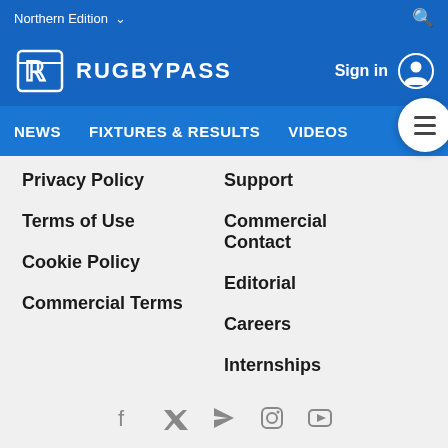Northern Edition
[Figure (logo): RugbyPass logo with shield/letter icon and RUGBYPASS text in white on blue header]
Sign in
NEWS  FIXTURES & RESULTS  VIDEOS
Privacy Policy
Terms of Use
Cookie Policy
Commercial Terms
Support
Commercial Contact
Editorial
Careers
Internships
[Figure (infographic): Social media icons row: Facebook, Twitter, RSS, Instagram, YouTube]